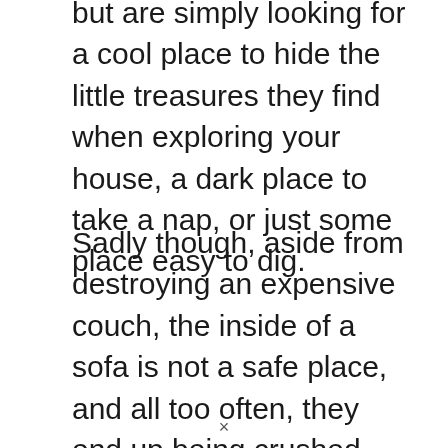but are simply looking for a cool place to hide the little treasures they find when exploring your house, a dark place to take a nap, or just some place easy to dig.
Sadly though, aside from destroying an expensive couch, the inside of a sofa is not a safe place, and all too often, they end up being crushed, stabbed with inner wires or coils, or their limbs broken when someone sits down, unaware of their presence just